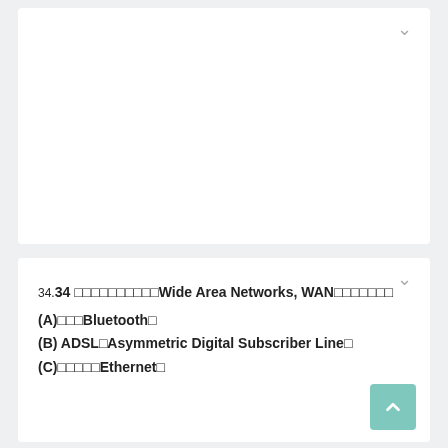[Figure (other): White card panel with a downward chevron arrow in top-right corner, content area is blank/empty]
34.34 xxxxxxxxxxxxxxxxWide Area Networks, WANxxxxxxxx
(A)xxxBluetooth
(B) ADSLxAsymmetric Digital Subscriber Line
(C)xxxxxEthernet